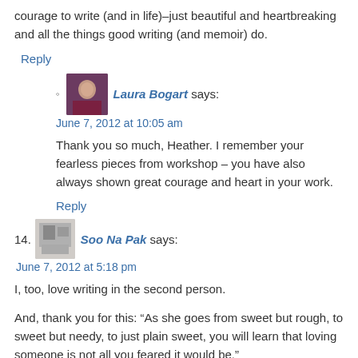courage to write (and in life)–just beautiful and heartbreaking and all the things good writing (and memoir) do.
Reply
Laura Bogart says:
June 7, 2012 at 10:05 am
Thank you so much, Heather. I remember your fearless pieces from workshop – you have also always shown great courage and heart in your work.
Reply
14. Soo Na Pak says:
June 7, 2012 at 5:18 pm
I, too, love writing in the second person.
And, thank you for this: “As she goes from sweet but rough, to sweet but needy, to just plain sweet, you will learn that loving someone is not all you feared it would be.”